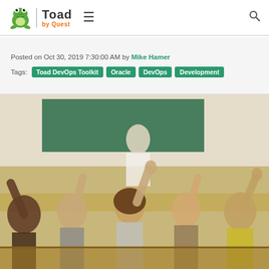[Figure (logo): Toad by Quest logo with frog mascot icon, 'Toad' text in bold dark letters, 'by Quest' in orange below, separated by a vertical line from a hamburger menu icon on the left and a search icon on the right]
Posted on Oct 30, 2019 7:30:00 AM by Mike Hamer
Tags: Toad DevOps Toolkit  Oracle  DevOps  Development
[Figure (photo): Classroom photo showing children raising their hands, viewed from behind, with a teacher standing at the front near a green chalkboard]